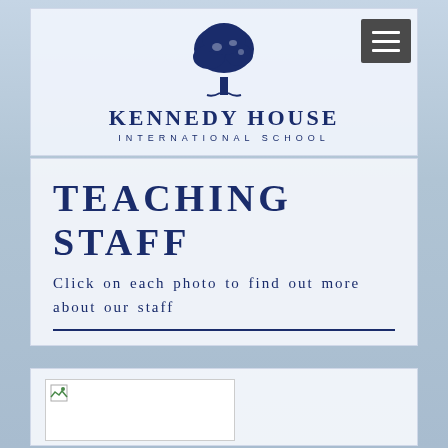[Figure (logo): Kennedy House International School logo with blue tree and school name]
TEACHING STAFF
Click on each photo to find out more about our staff
[Figure (photo): Staff photo placeholder (broken image)]